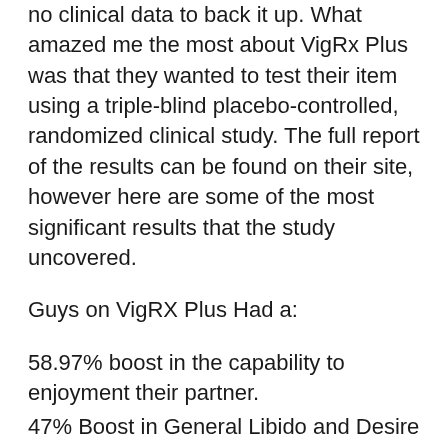no clinical data to back it up. What amazed me the most about VigRx Plus was that they wanted to test their item using a triple-blind placebo-controlled, randomized clinical study. The full report of the results can be found on their site, however here are some of the most significant results that the study uncovered.
Guys on VigRX Plus Had a:
58.97% boost in the capability to enjoyment their partner.
47% Boost in General Libido and Desire
71.43% Increase in Sexual and Sexual Intercourse Complete Satisfaction
62.82% Increase in the Ability to Preserve an Erection